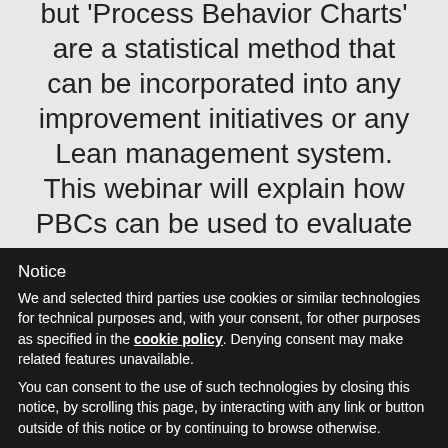but 'Process Behavior Charts' are a statistical method that can be incorporated into any improvement initiatives or any Lean management system. This webinar will explain how PBCs can be used to evaluate the impact of projects and how they can be used to track performance measures over time, allowing us to
Notice
We and selected third parties use cookies or similar technologies for technical purposes and, with your consent, for other purposes as specified in the cookie policy. Denying consent may make related features unavailable.
You can consent to the use of such technologies by closing this notice, by scrolling this page, by interacting with any link or button outside of this notice or by continuing to browse otherwise.